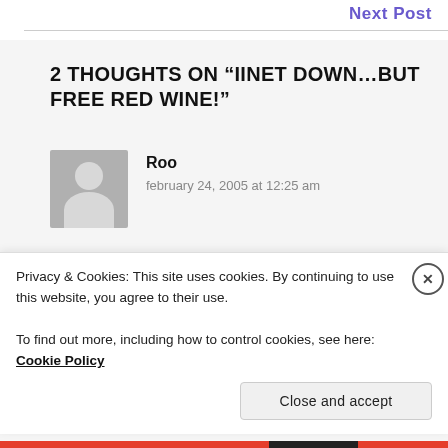Next Post
2 THOUGHTS ON “IINET DOWN…BUT FREE RED WINE!”
Roo
february 24, 2005 at 12:25 am
i was lucky enough to be able to pray with him
Privacy & Cookies: This site uses cookies. By continuing to use this website, you agree to their use.
To find out more, including how to control cookies, see here: Cookie Policy
Close and accept